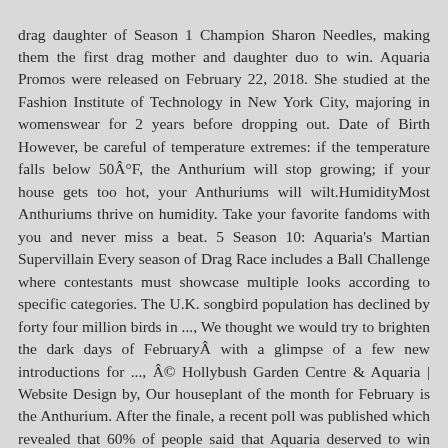drag daughter of Season 1 Champion Sharon Needles, making them the first drag mother and daughter duo to win. Aquaria Promos were released on February 22, 2018. She studied at the Fashion Institute of Technology in New York City, majoring in womenswear for 2 years before dropping out. Date of Birth However, be careful of temperature extremes: if the temperature falls below 50Â°F, the Anthurium will stop growing; if your house gets too hot, your Anthuriums will wilt.HumidityMost Anthuriums thrive on humidity. Take your favorite fandoms with you and never miss a beat. 5 Season 10: Aquaria's Martian Supervillain Every season of Drag Race includes a Ball Challenge where contestants must showcase multiple looks according to specific categories. The U.K. songbird population has declined by forty four million birds in ..., We thought we would try to brighten the dark days of FebruaryÂ with a glimpse of a few new introductions for ..., Â© Hollybush Garden Centre & Aquaria | Website Design by, Our houseplant of the month for February is the Anthurium. After the finale, a recent poll was published which revealed that 60% of people said that Aquaria deserved to win over Kameron and Eureka. thank you i enjoy the place and the view! N/A We are very family orientated, welcoming children with their own menu and colouring sheets to enjoy. Ethnicity Aquarium definition is - a container (such as a glass tank) or